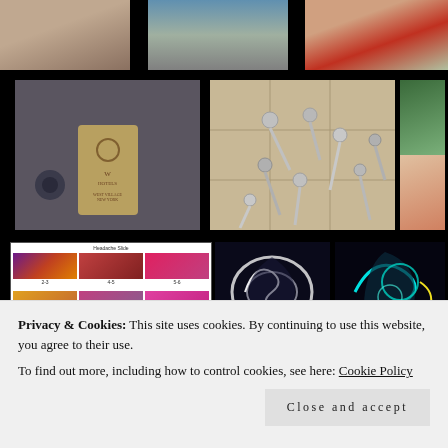[Figure (photo): Grid of photos: close-up of ear/face, airport scene, elderly woman in red, hotel door tag with camera locks, scattered spoons on tile floor, woman painting outdoors, medical wristbands, headache slide grid with 6 colored microscope images, dark swirling colorful abstract images]
Privacy & Cookies: This site uses cookies. By continuing to use this website, you agree to their use.
To find out more, including how to control cookies, see here: Cookie Policy
Close and accept